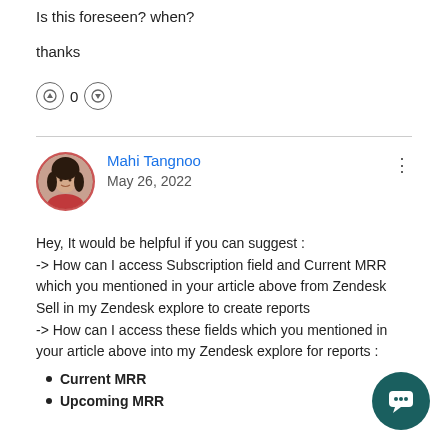Is this foreseen? when?
thanks
↑ 0 ↓
Mahi Tangnoo
May 26, 2022
Hey, It would be helpful if you can suggest :
-> How can I access Subscription field and Current MRR which you mentioned in your article above from Zendesk Sell in my Zendesk explore to create reports
-> How can I access these fields which you mentioned in your article above into my Zendesk explore for reports :
Current MRR
Upcoming MRR